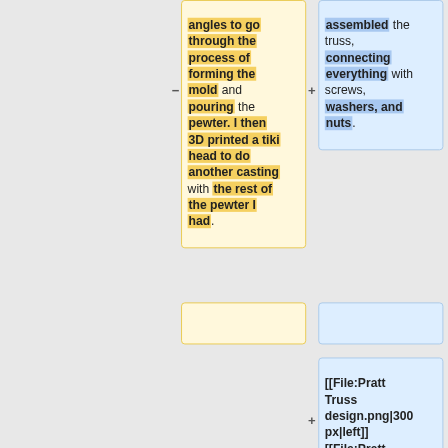angles to go through the process of forming the mold and pouring the pewter. I then 3D printed a tiki head to do another casting with the rest of the pewter I had.
assembled the truss, connecting everything with screws, washers, and nuts.
[[File:Pratt Truss design.png|300px|left]] [[File:Pratt Laser Cut.jpg|300px|Center]]